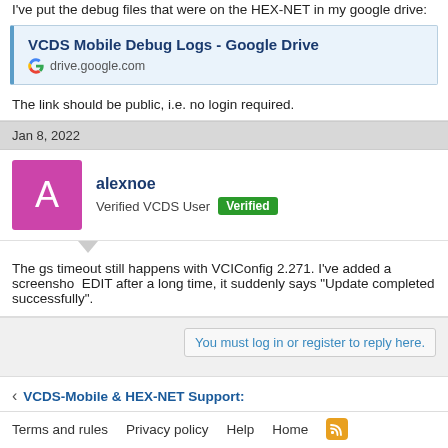I've put the debug files that were on the HEX-NET in my google drive:
VCDS Mobile Debug Logs - Google Drive
drive.google.com
The link should be public, i.e. no login required.
Jan 8, 2022
alexnoe
Verified VCDS User  Verified
The gs timeout still happens with VCIConfig 2.271. I've added a screenshot. EDIT after a long time, it suddenly says "Update completed successfully".
You must log in or register to reply here.
< VCDS-Mobile & HEX-NET Support:
Terms and rules  Privacy policy  Help  Home
Community platform by XenForo® © 2010-2022 XenForo Ltd.